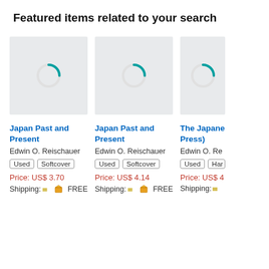Featured items related to your search
[Figure (screenshot): Loading spinner image placeholder for Japan Past and Present book cover]
Japan Past and Present
Edwin O. Reischauer
Used  Softcover
Price: US$ 3.70
Shipping: FREE
[Figure (screenshot): Loading spinner image placeholder for Japan Past and Present book cover]
Japan Past and Present
Edwin O. Reischauer
Used  Softcover
Price: US$ 4.14
Shipping: FREE
[Figure (screenshot): Loading spinner image placeholder for The Japanese Press book cover (partially visible)]
The Japane... Press)
Edwin O. Re...
Used  Har...
Price: US$ 4...
Shipping: ...